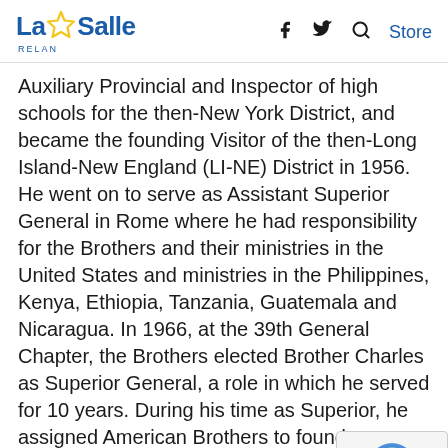La Salle RELAN — navigation with Facebook, Twitter, Search icons and Store link
Auxiliary Provincial and Inspector of high schools for the then-New York District, and became the founding Visitor of the then-Long Island-New England (LI-NE) District in 1956. He went on to serve as Assistant Superior General in Rome where he had responsibility for the Brothers and their ministries in the United States and ministries in the Philippines, Kenya, Ethiopia, Tanzania, Guatemala and Nicaragua. In 1966, at the 39th General Chapter, the Brothers elected Brother Charles as Superior General, a role in which he served for 10 years. During his time as Superior, he assigned American Brothers to found Bethlehem University in 1973, at the request of Pope Paul